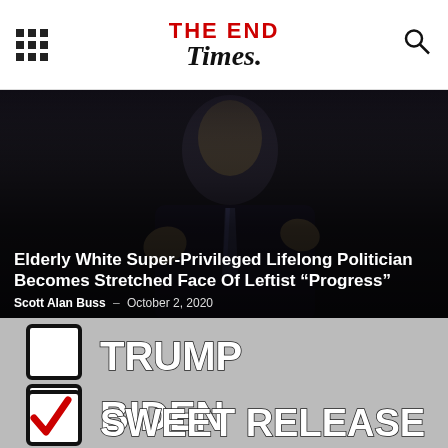THE END Times.
[Figure (photo): Photo of an elderly man in a suit gesturing with his hands, dark background, overlaid with article headline and byline]
Elderly White Super-Privileged Lifelong Politician Becomes Stretched Face Of Leftist “Progress”
Scott Alan Buss  -  October 2, 2020
[Figure (photo): Ballot checklist image showing three checkboxes labeled TRUMP, BIDEN, and SWEET RELEASE, with the third box checked with a red checkmark]